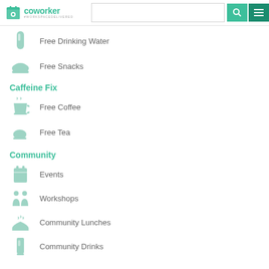coworker #WORKSPACEDELIVERED
Free Drinking Water
Free Snacks
Caffeine Fix
Free Coffee
Free Tea
Community
Events
Workshops
Community Lunches
Community Drinks